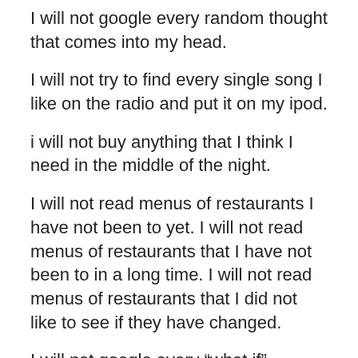I will not google every random thought that comes into my head.
I will not try to find every single song I like on the radio and put it on my ipod.
i will not buy anything that I think I need in the middle of the night.
I will not read menus of restaurants I have not been to yet. I will not read menus of restaurants that I have not been to in a long time. I will not read menus of restaurants that I did not like to see if they have changed.
I will not google every “what if” scenario that could happen to me in whatever country I am going to.